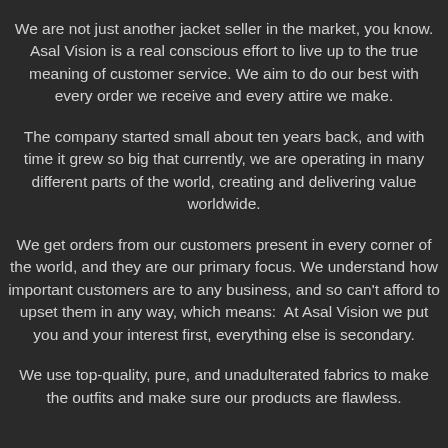We are not just another jacket seller in the market, you know. Asal Vision is a real conscious effort to live up to the true meaning of customer service. We aim to do our best with every order we receive and every attire we make.
The company started small about ten years back, and with time it grew so big that currently, we are operating in many different parts of the world, creating and delivering value worldwide.
We get orders from our customers present in every corner of the world, and they are our primary focus. We understand how important customers are to any business, and so can't afford to upset them in any way, which means:  At Asal Vision we put you and your interest first, everything else is secondary.
We use top-quality, pure, and unadulterated fabrics to make the outfits and make sure our products are flawless.